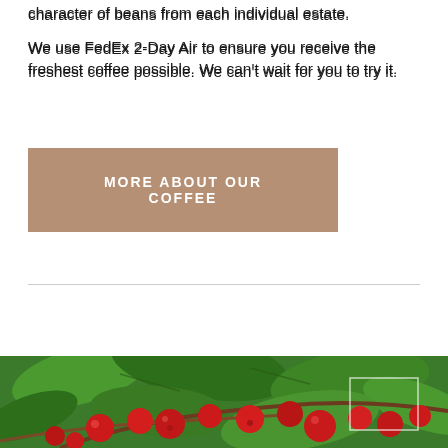character of beans from each individual estate.
We use FedEx 2-Day Air to ensure you receive the freshest coffee possible. We can't wait for you to try it.
MORE ABOUT OUR COFFEE
[Figure (photo): Close-up photo of red coffee cherries on a branch with green leaves]